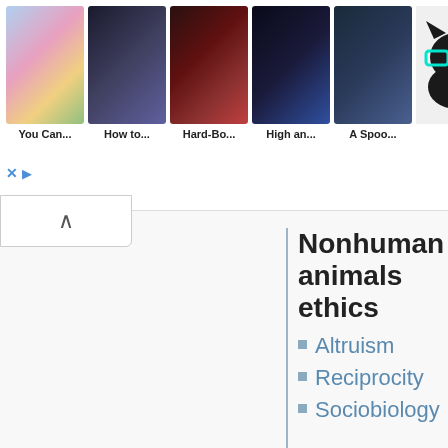[Figure (screenshot): Ad banner showing anime/manga thumbnails: 'You Can...', 'How to...', 'Hard-Bo...', 'High an...', 'A Spoo...' with a cat logo on the right]
Nonhuman animals ethics
Altruism
Reciprocity
Sociobiology
External links
International